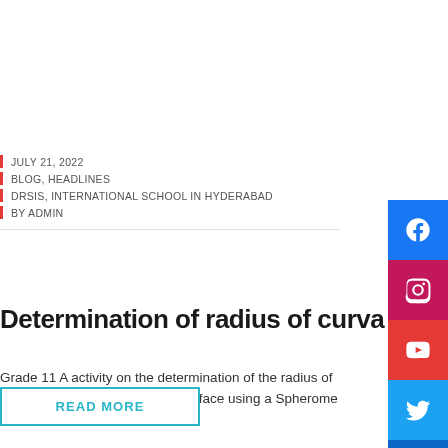JULY 21, 2022
BLOG, HEADLINES
DRSIS, INTERNATIONAL SCHOOL IN HYDERABAD
BY ADMIN
Determination of radius of curvature
Grade 11 A activity on the determination of the radius of curvature of a given spherical surface using a Spherometer
READ MORE